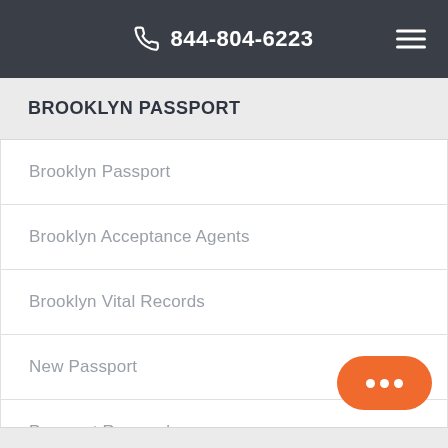844-804-6223
BROOKLYN PASSPORT
Brooklyn Passport
Brooklyn Acceptance Agents
Brooklyn Vital Records
New Passport
Passport Renewal